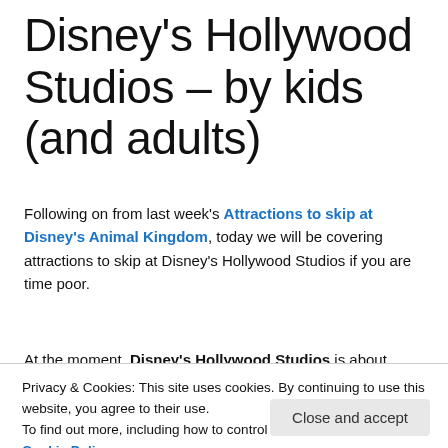Disney's Hollywood Studios – by kids (and adults)
Following on from last week's Attractions to skip at Disney's Animal Kingdom, today we will be covering attractions to skip at Disney's Hollywood Studios if you are time poor.
At the moment, Disney's Hollywood Studios is about
Privacy & Cookies: This site uses cookies. By continuing to use this website, you agree to their use.
To find out more, including how to control cookies, see here: Cookie Policy
the boys particularly enjoyed a number of attractions